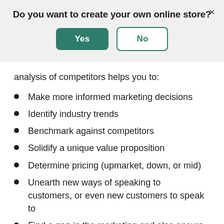Do you want to create your own online store?
[Figure (screenshot): Modal dialog with Yes (green filled button) and No (green outlined button) options, and an X close button]
analysis of competitors helps you to:
Make more informed marketing decisions
Identify industry trends
Benchmark against competitors
Solidify a unique value proposition
Determine pricing (upmarket, down, or mid)
Unearth new ways of speaking to customers, or even new customers to speak to
Find a gap in the marketing and also ensure